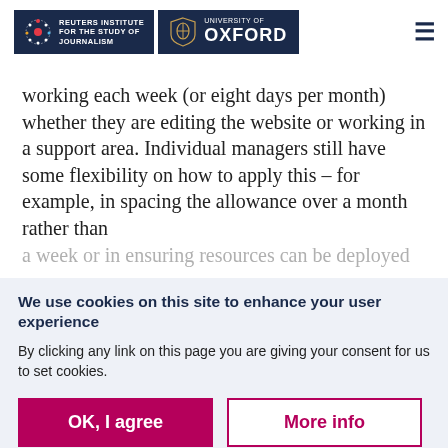Reuters Institute for the Study of Journalism | University of Oxford
working each week (or eight days per month) whether they are editing the website or working in a support area. Individual managers still have some flexibility on how to apply this – for example, in spacing the allowance over a month rather than a week or in ensuring resources can be deployed
We use cookies on this site to enhance your user experience
By clicking any link on this page you are giving your consent for us to set cookies.
OK, I agree | More info